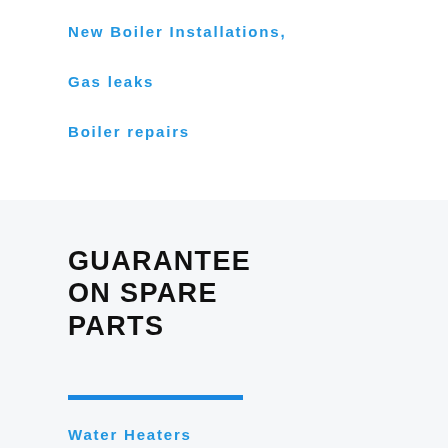New Boiler Installations,
Gas leaks
Boiler repairs
GUARANTEE ON SPARE PARTS
Water Heaters
Gas Fires
Under Floor Heating